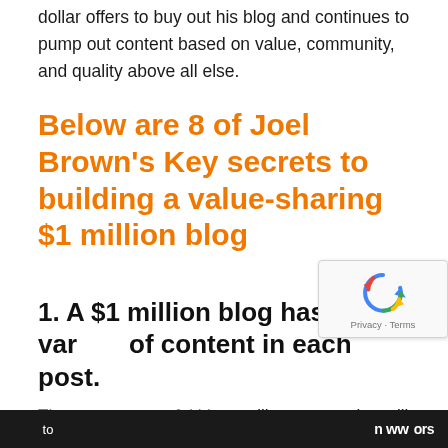dollar offers to buy out his blog and continues to pump out content based on value, community, and quality above all else.
Below are 8 of Joel Brown's Key secrets to building a value-sharing $1 million blog
1. A $1 million blog has a variety of content in each post.
The most successful blogs utilize content that will appeal to